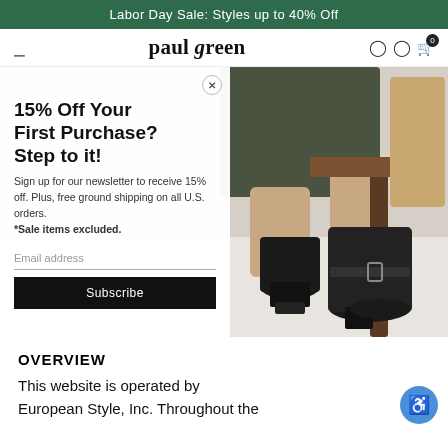Labor Day Sale: Styles up to 40% Off
paul green
[Figure (photo): Fashion retail website screenshot showing a popup modal with newsletter signup offer (15% off first purchase, free ground shipping) overlaid on a hero image of a person's legs wearing black ankle boots with buckle detail, seated in a wooden chair. The background shows the Paul Green brand logo in the navigation bar.]
OVERVIEW
This website is operated by European Style, Inc. Throughout the